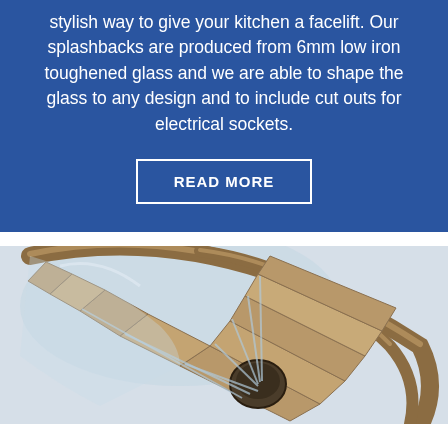stylish way to give your kitchen a facelift. Our splashbacks are produced from 6mm low iron toughened glass and we are able to shape the glass to any design and to include cut outs for electrical sockets.
READ MORE
[Figure (photo): Aerial view of a spiral staircase with wooden steps, wooden curved handrail, and glass balustrade panels, viewed from above.]